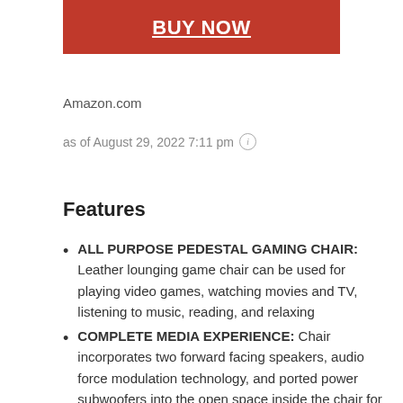[Figure (other): Red BUY NOW button]
Amazon.com
as of August 29, 2022 7:11 pm ℹ
Features
ALL PURPOSE PEDESTAL GAMING CHAIR: Leather lounging game chair can be used for playing video games, watching movies and TV, listening to music, reading, and relaxing
COMPLETE MEDIA EXPERIENCE: Chair incorporates two forward facing speakers, audio force modulation technology, and ported power subwoofers into the open space inside the chair for full immersion in your game, movie, or music